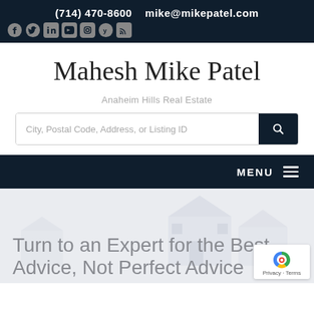(714) 470-8600   mike@mikepatel.com
[Figure (other): Social media icons row: Facebook, Twitter, LinkedIn, YouTube, Instagram, Yelp, RSS]
Mahesh Mike Patel
Anaheim Hills Real Estate
City, Postal Code, Address, or Listing ID
MENU
Turn to an Expert for the Best Advice, Not Perfect Advice